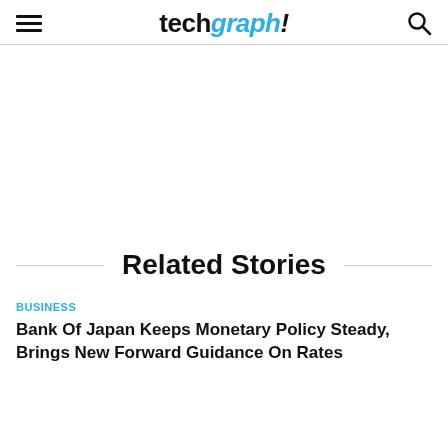techgraph!
Related Stories
BUSINESS
Bank Of Japan Keeps Monetary Policy Steady, Brings New Forward Guidance On Rates